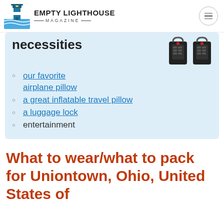EMPTY LIGHTHOUSE MAGAZINE
necessities
[Figure (photo): Two black TSA combination luggage locks side by side]
our favorite airplane pillow
a great inflatable travel pillow
a luggage lock
entertainment
What to wear/what to pack for Uniontown, Ohio, United States of